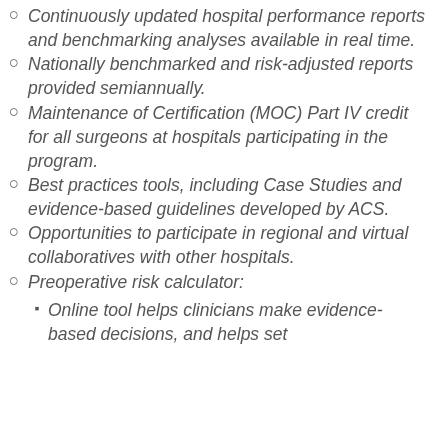Continuously updated hospital performance reports and benchmarking analyses available in real time.
Nationally benchmarked and risk-adjusted reports provided semiannually.
Maintenance of Certification (MOC) Part IV credit for all surgeons at hospitals participating in the program.
Best practices tools, including Case Studies and evidence-based guidelines developed by ACS.
Opportunities to participate in regional and virtual collaboratives with other hospitals.
Preoperative risk calculator:
Online tool helps clinicians make evidence-based decisions, and helps set